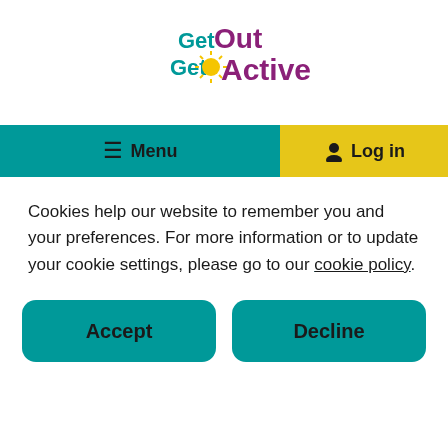[Figure (logo): Get Out Get Active logo with teal 'Get' text, purple 'Out' text, yellow sun icon, and purple 'Active' text]
≡ Menu   🧑 Log in
Cookies help our website to remember you and your preferences. For more information or to update your cookie settings, please go to our cookie policy.
Accept
Decline